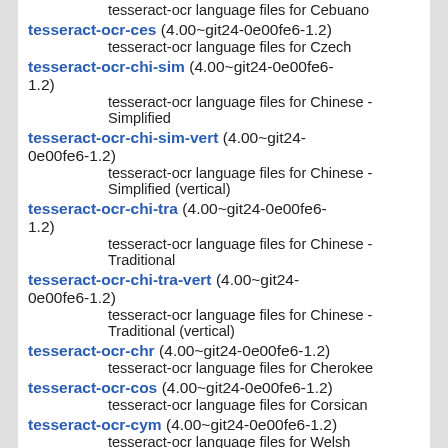tesseract-ocr language files for Cebuano
tesseract-ocr-ces (4.00~git24-0e00fe6-1.2)
  tesseract-ocr language files for Czech
tesseract-ocr-chi-sim (4.00~git24-0e00fe6-1.2)
  tesseract-ocr language files for Chinese - Simplified
tesseract-ocr-chi-sim-vert (4.00~git24-0e00fe6-1.2)
  tesseract-ocr language files for Chinese - Simplified (vertical)
tesseract-ocr-chi-tra (4.00~git24-0e00fe6-1.2)
  tesseract-ocr language files for Chinese - Traditional
tesseract-ocr-chi-tra-vert (4.00~git24-0e00fe6-1.2)
  tesseract-ocr language files for Chinese - Traditional (vertical)
tesseract-ocr-chr (4.00~git24-0e00fe6-1.2)
  tesseract-ocr language files for Cherokee
tesseract-ocr-cos (4.00~git24-0e00fe6-1.2)
  tesseract-ocr language files for Corsican
tesseract-ocr-cym (4.00~git24-0e00fe6-1.2)
  tesseract-ocr language files for Welsh
tesseract-ocr-dan (4.00~git24-0e00fe6-1.2)
  tesseract-ocr language files for Danish
tesseract-ocr-deu (4.00~git24-0e00fe6-1.2)